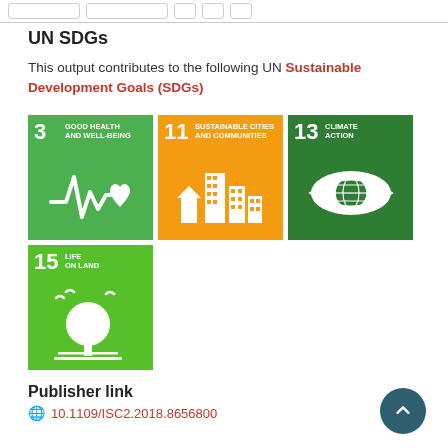UN SDGs
This output contributes to the following UN Sustainable Development Goals (SDGs)
[Figure (infographic): Four UN SDG tiles: SDG 3 Good Health and Well-Being (green), SDG 11 Sustainable Cities and Communities (orange), SDG 13 Climate Action (dark green), SDG 15 Life on Land (bright green)]
Publisher link
10.1109/ISC2.2018.8656800